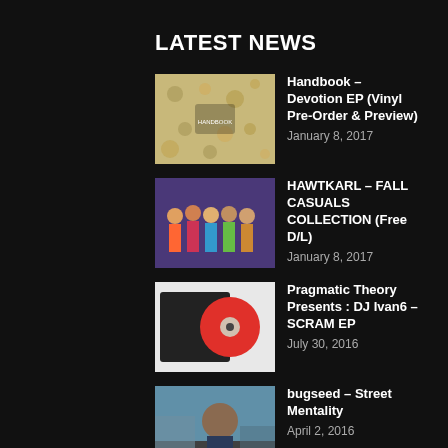LATEST NEWS
Handbook – Devotion EP (Vinyl Pre-Order & Preview)
January 8, 2017
HAWTKARL – FALL CASUALS COLLECTION (Free D/L)
January 8, 2017
Pragmatic Theory Presents : DJ Ivan6 – SCRAM EP
July 30, 2016
bugseed – Street Mentality
April 2, 2016
Bläp Dëli – W O M A N
March 14, 2016
SEARCH THE SITE